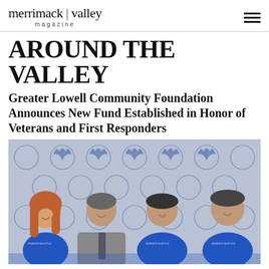merrimack | valley magazine
AROUND THE VALLEY
Greater Lowell Community Foundation Announces New Fund Established in Honor of Veterans and First Responders
[Figure (photo): Four people posing in front of a Greater Lowell Community Foundation step-and-repeat backdrop. From left: a woman with red hair wearing a blue t-shirt, a man in a grey suit with a tie, and two men in blue t-shirts.]